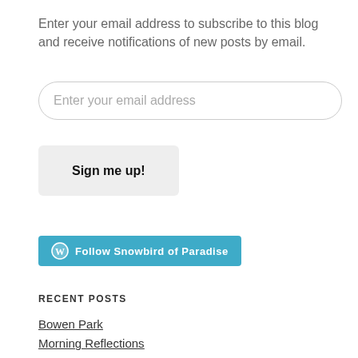Enter your email address to subscribe to this blog and receive notifications of new posts by email.
Enter your email address
Sign me up!
[Figure (other): WordPress Follow button — teal/blue rounded rectangle with WordPress logo and text 'Follow Snowbird of Paradise']
RECENT POSTS
Bowen Park
Morning Reflections
Transitory Brilliance
Wordless Wednesday 17 August 2022